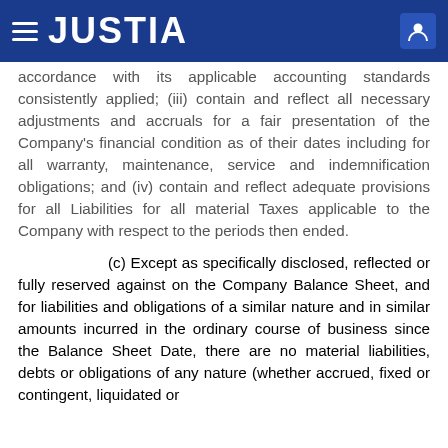JUSTIA
accordance with its applicable accounting standards consistently applied; (iii) contain and reflect all necessary adjustments and accruals for a fair presentation of the Company's financial condition as of their dates including for all warranty, maintenance, service and indemnification obligations; and (iv) contain and reflect adequate provisions for all Liabilities for all material Taxes applicable to the Company with respect to the periods then ended.
(c) Except as specifically disclosed, reflected or fully reserved against on the Company Balance Sheet, and for liabilities and obligations of a similar nature and in similar amounts incurred in the ordinary course of business since the Balance Sheet Date, there are no material liabilities, debts or obligations of any nature (whether accrued, fixed or contingent, liquidated or